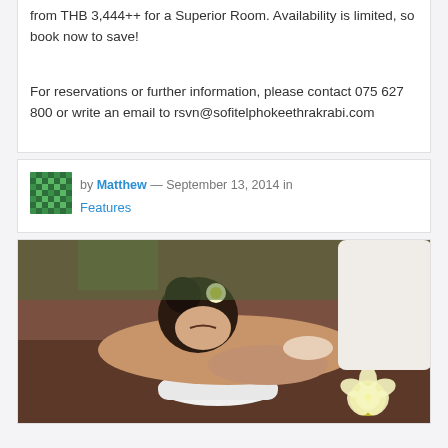from THB 3,444++ for a Superior Room. Availability is limited, so book now to save!
For reservations or further information, please contact 075 627 800 or write an email to rsvn@sofitelphokeethrakrabi.com
by Matthew — September 13, 2014 in Features
[Figure (photo): A woman receiving a massage at a spa, lying on a massage table with a white flower in her hair, eyes closed, relaxed expression. A massage therapist's hands visible working on her back. A white rolled towel and a plumeria flower on the table in the foreground.]